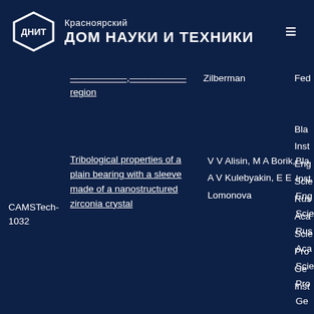Красноярский ДОМ НАУКИ И ТЕХНИКИ (ДНИТ)
——,—— region | Zilberman | Fed...
Blag... Inst... Eng... Scie... Rus... Aca... Scie... Pro... Ge... Inst...
CAMSTech-1032
Tribological properties of a plain bearing with a sleeve made of a nanostructured zirconia crystal
V V Alisin, M A Borik, A V Kulebyakin, E E Lomonova
Bla... Inst... Eng... Scie... Rus... Aca... Scie... Pro... Ge... Inst...